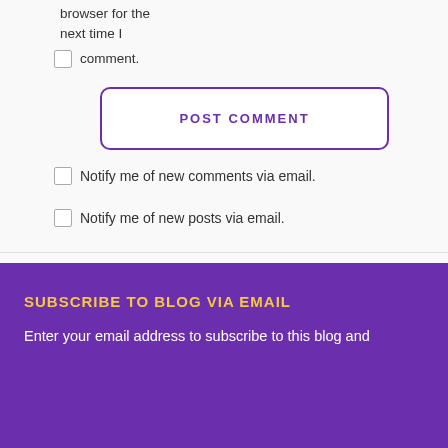browser for the next time I comment.
POST COMMENT
Notify me of new comments via email.
Notify me of new posts via email.
SUBSCRIBE TO BLOG VIA EMAIL
Enter your email address to subscribe to this blog and